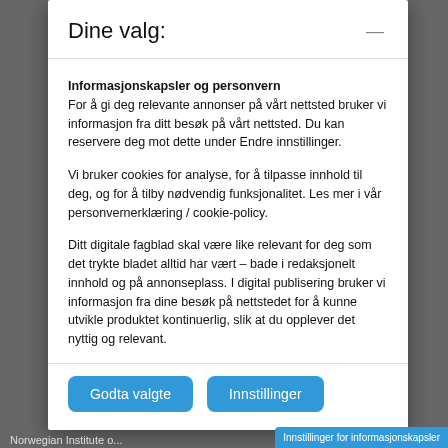Dine valg:
Informasjonskapsler og personvern
For å gi deg relevante annonser på vårt nettsted bruker vi informasjon fra ditt besøk på vårt nettsted. Du kan reservere deg mot dette under Endre innstillinger.
Vi bruker cookies for analyse, for å tilpasse innhold til deg, og for å tilby nødvendig funksjonalitet. Les mer i vår personvernerklæring / cookie-policy.
Ditt digitale fagblad skal være like relevant for deg som det trykte bladet alltid har vært – bade i redaksjonelt innhold og på annonseplass. I digital publisering bruker vi informasjon fra dine besøk på nettstedet for å kunne utvikle produktet kontinuerlig, slik at du opplever det nyttig og relevant.
Godta valgte
Innstillinger
Norwegian Institute o...   Innstillinger for informasjonskapsler